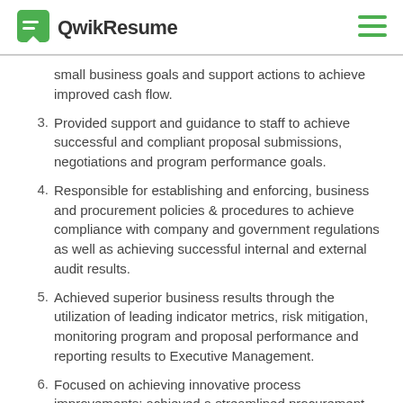QwikResume
small business goals and support actions to achieve improved cash flow.
3. Provided support and guidance to staff to achieve successful and compliant proposal submissions, negotiations and program performance goals.
4. Responsible for establishing and enforcing, business and procurement policies & procedures to achieve compliance with company and government regulations as well as achieving successful internal and external audit results.
5. Achieved superior business results through the utilization of leading indicator metrics, risk mitigation, monitoring program and proposal performance and reporting results to Executive Management.
6. Focused on achieving innovative process improvements; achieved a streamlined procurement process and cost reduction.
7. Negotiated third-party logistics agreement saving